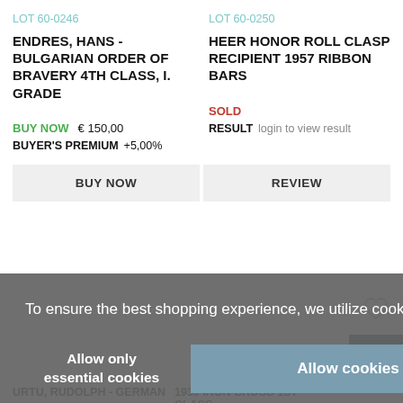LOT 60-0246
ENDRES, HANS - BULGARIAN ORDER OF BRAVERY 4TH CLASS, I. GRADE
BUY NOW   € 150,00
BUYER'S PREMIUM   +5,00%
BUY NOW
LOT 60-0250
HEER HONOR ROLL CLASP RECIPIENT 1957 RIBBON BARS
SOLD
RESULT   login to view result
REVIEW
To ensure the best shopping experience, we utilize cookies  more...
Allow only essential cookies
Allow cookies
URTU, RUDOLPH - GERMAN
1939 IRON CROSS 1ST CLASS